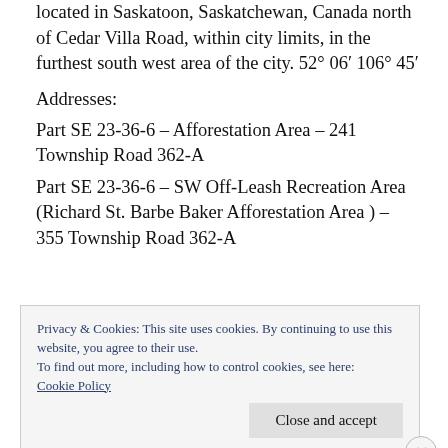Richard St. Barbe Baker Afforestation Area is located in Saskatoon, Saskatchewan, Canada north of Cedar Villa Road, within city limits, in the furthest south west area of the city. 52° 06′ 106° 45′
Addresses:
Part SE 23-36-6 – Afforestation Area – 241 Township Road 362-A
Part SE 23-36-6 – SW Off-Leash Recreation Area (Richard St. Barbe Baker Afforestation Area ) – 355 Township Road 362-A
Privacy & Cookies: This site uses cookies. By continuing to use this website, you agree to their use.
To find out more, including how to control cookies, see here: Cookie Policy
Close and accept